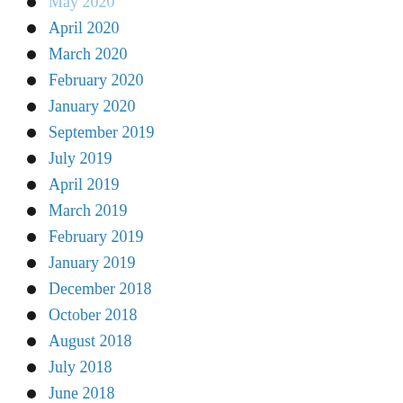May 2020
April 2020
March 2020
February 2020
January 2020
September 2019
July 2019
April 2019
March 2019
February 2019
January 2019
December 2018
October 2018
August 2018
July 2018
June 2018
May 2018